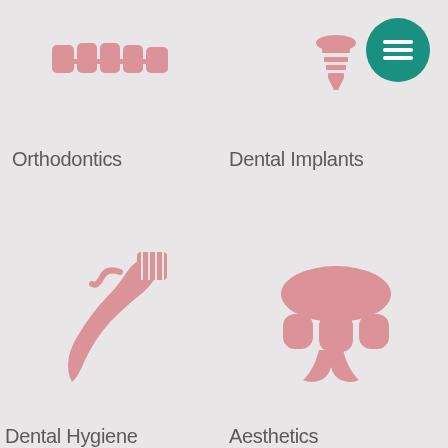[Figure (illustration): Pink orthodontics/braces icon at top left]
[Figure (illustration): Pink dental implant icon at top right]
[Figure (illustration): Teal circular hamburger menu button at top right corner]
Orthodontics
Dental Implants
[Figure (illustration): Pink toothbrush with toothpaste icon at bottom left]
[Figure (illustration): Pink dental aesthetics/crown icon at bottom right]
Dental Hygiene
Aesthetics